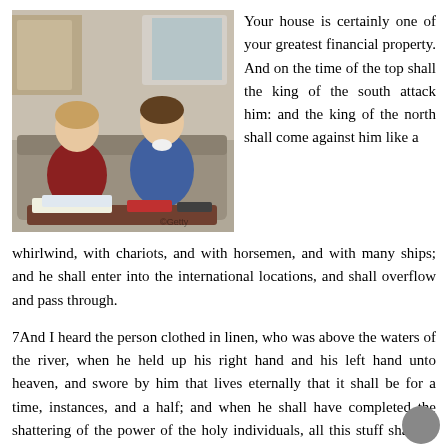[Figure (photo): Two boys sitting on a couch in a living room scene, with books on the table in front of them. TV show still image.]
Your house is certainly one of your greatest financial property. And on the time of the top shall the king of the south attack him: and the king of the north shall come against him like a whirlwind, with chariots, and with horsemen, and with many ships; and he shall enter into the international locations, and shall overflow and pass through.
7And I heard the person clothed in linen, who was above the waters of the river, when he held up his right hand and his left hand unto heaven, and swore by him that lives eternally that it shall be for a time, instances, and a half; and when he shall have completed the shattering of the power of the holy individuals, all this stuff shall be completed.